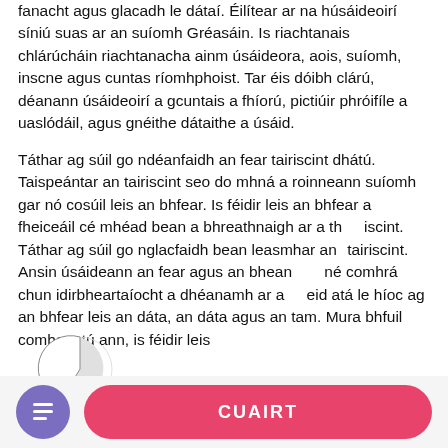fanacht agus glacadh le dátaí. Éilítear ar na húsáideoirí síniú suas ar an suíomh Gréasáin. Is riachtanais chlárúcháin riachtanacha ainm úsáideora, aois, suíomh, inscne agus cuntas ríomhphoist. Tar éis dóibh clárú, déanann úsáideoirí a gcuntais a fhíorú, pictiúir phróifíle a uaslódáil, agus gnéithe dátaithe a úsáid.
Táthar ag súil go ndéanfaidh an fear tairiscint dhátú. Taispeántar an tairiscint seo do mhná a roinneann suíomh gar nó cosúil leis an bhfear. Is féidir leis an bhfear a fheiceáil cé mhéad bean a bhreathnaigh ar a thairiscint. Táthar ag súil go nglacfaidh bean leasmhar an tairiscint. Ansin úsáideann an fear agus an bhean an comhrá chun idirbheartaíocht a dhéanamh ar an méid atá le híoc ag an bhfear leis an dáta, an dáta agus an tam. Mura bhfuil comhaontú ann, is féidir leis
[Figure (other): Pie chart annotation showing 19% slice with a red arrow/cursor annotation overlaid on text]
CUAIRT